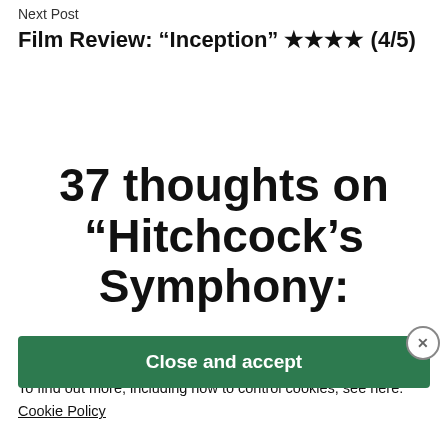Next Post
Film Review: “Inception” ★★★★ (4/5)
37 thoughts on “Hitchcock’s Symphony: “PSYCHO” A Shot-by-Shot Commentary”
Privacy & Cookies: This site uses cookies. By continuing to use this website, you agree to their use.
To find out more, including how to control cookies, see here:
Cookie Policy
Close and accept